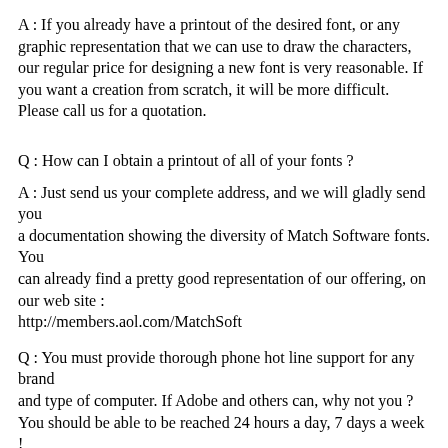A : If you already have a printout of the desired font, or any graphic representation that we can use to draw the characters, our regular price for designing a new font is very reasonable. If you want a creation from scratch, it will be more difficult. Please call us for a quotation.
Q : How can I obtain a printout of all of your fonts ?
A : Just send us your complete address, and we will gladly send you
a documentation showing the diversity of Match Software fonts. You
can already find a pretty good representation of our offering, on our web site :
http://members.aol.com/MatchSoft
Q : You must provide thorough phone hot line support for any brand
and type of computer. If Adobe and others can, why not you ? You should be able to be reached 24 hours a day, 7 days a week !
A : We are sorry, with our small operation, not to be able to compete with giants who see more money in 10 minutes than we